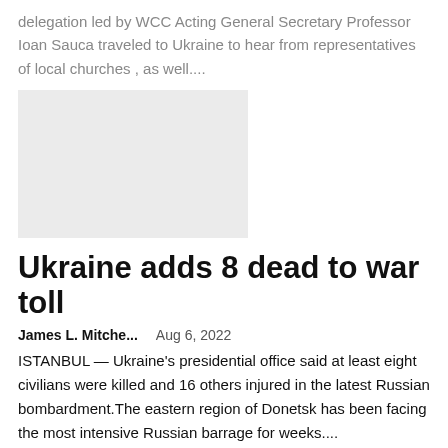delegation led by WCC Acting General Secretary Professor Ioan Sauca traveled to Ukraine to hear from representatives of local churches , as well....
[Figure (other): Light gray image placeholder rectangle]
Ukraine adds 8 dead to war toll
James L. Mitche...    Aug 6, 2022
ISTANBUL — Ukraine's presidential office said at least eight civilians were killed and 16 others injured in the latest Russian bombardment.The eastern region of Donetsk has been facing the most intensive Russian barrage for weeks....
[Figure (other): Light gray image placeholder rectangle (partially visible at bottom)]